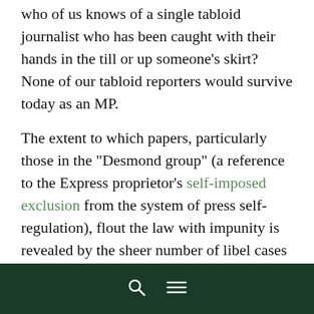who of us knows of a single tabloid journalist who has been caught with their hands in the till or up someone's skirt? None of our tabloid reporters would survive today as an MP.
The extent to which papers, particularly those in the "Desmond group" (a reference to the Express proprietor's self-imposed exclusion from the system of press self- regulation), flout the law with impunity is revealed by the sheer number of libel cases which are settled before court.  If the law were in any way sufficient, or if the regulatory system were any good, we wouldn't see this "group ritual of settlement" . It happens because newspapers simply cannot justify what they say in their publications, but they do have the wherewithal to get rid of the consequent libel actions.
The general feeling was that the "chilling effect" of libel and other laws was a form of special pleading and something of a
🔍 ☰